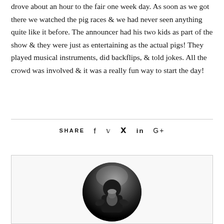drove about an hour to the fair one week day. As soon as we got there we watched the pig races & we had never seen anything quite like it before. The announcer had his two kids as part of the show & they were just as entertaining as the actual pigs! They played musical instruments, did backflips, & told jokes. All the crowd was involved & it was a really fun way to start the day!
SHARE
[Figure (photo): Circular black and white portrait photo of a person holding a baby, shown in a bordered box at the bottom of the page.]